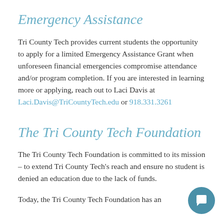Emergency Assistance
Tri County Tech provides current students the opportunity to apply for a limited Emergency Assistance Grant when unforeseen financial emergencies compromise attendance and/or program completion. If you are interested in learning more or applying, reach out to Laci Davis at Laci.Davis@TriCountyTech.edu or 918.331.3261
The Tri County Tech Foundation
The Tri County Tech Foundation is committed to its mission – to extend Tri County Tech's reach and ensure no student is denied an education due to the lack of funds.
Today, the Tri County Tech Foundation has an